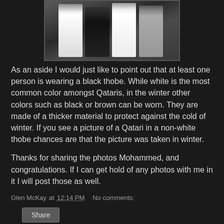[Figure (photo): Group photo of several people in traditional Qatari dress (thobes), some white and at least one black thobe, standing together indoors.]
As an aside I would just like to point out that at least one person is wearing a black thobe. While white is the most common color amongst Qataris, in the winter other colors such as black or brown can be worn. They are made of a thicker material to protect against the cold of winter. If you see a picture of a Qatari in a non-white thobe chances are that the picture was taken in winter.
Thanks for sharing the photos Mohammed, and congratulations. If I can get hold of any photos with me in it I will post those as well.
Glen McKay at 12:14 PM   No comments:
Share